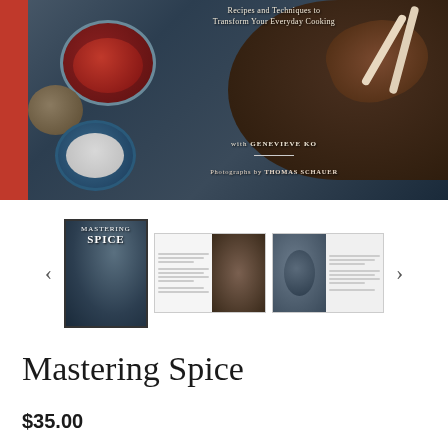[Figure (photo): Book cover image for 'Mastering Spice' showing spice bowls and grilled meat on a dark background with text 'Recipes and Techniques to Transform Your Everyday Cooking', 'with GENEVIEVE KO', 'Photographs by THOMAS SCHAUER']
[Figure (screenshot): Thumbnail gallery showing selected book cover thumbnail (Mastering Spice), two spread thumbnails showing interior pages]
Mastering Spice
$35.00